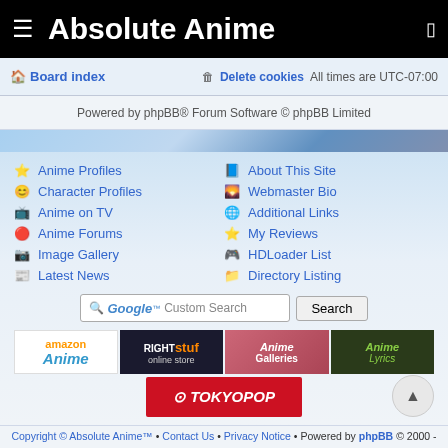≡ Absolute Anime
Board index | Delete cookies | All times are UTC-07:00
Powered by phpBB® Forum Software © phpBB Limited
Anime Profiles
About This Site
Character Profiles
Webmaster Bio
Anime on TV
Additional Links
Anime Forums
My Reviews
Image Gallery
HDLoader List
Latest News
Directory Listing
Google™ Custom Search [Search button]
[Figure (screenshot): Advertisement banners: amazon Anime, RightStuf online store, Anime Galleries, Anime Lyrics, TOKYOPOP]
Copyright © Absolute Anime™ • Contact Us • Privacy Notice • Powered by phpBB © 2000 - present phpBB Group